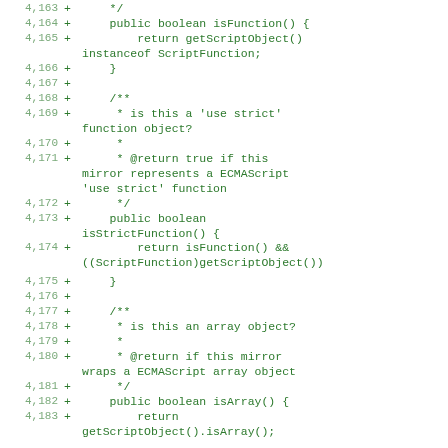Diff code block showing lines 4,163–4,183 of a Java source file with methods isFunction(), isStrictFunction(), and isArray() being added.